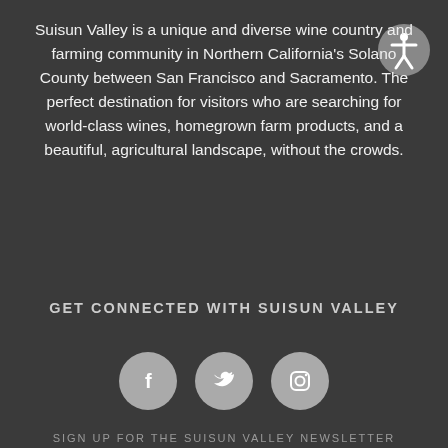Suisun Valley is a unique and diverse wine country and farming community in Northern California's Solano County between San Francisco and Sacramento. The perfect destination for visitors who are searching for world-class wines, homegrown farm products, and a beautiful, agricultural landscape, without the crowds.
GET CONNECTED WITH SUISUN VALLEY
[Figure (infographic): Three circular social media icons: Facebook (f), Twitter (bird), and Instagram (camera outline), rendered as gray circles with white icons.]
SIGN UP FOR THE SUISUN VALLEY NEWSLETTER